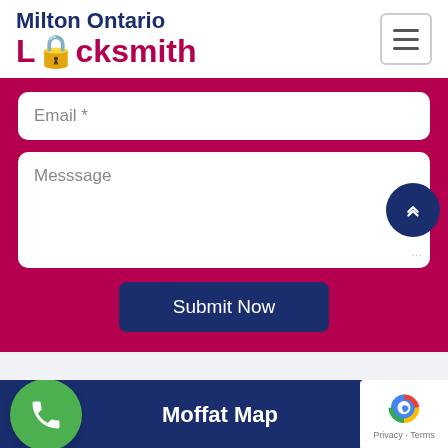[Figure (logo): Milton Ontario Locksmith logo with dark blue text and red Locksmith text]
Email *
Messsage
Submit Now
[Figure (other): Moffat Map section header with green phone icon and reCAPTCHA badge, followed by map preview]
Moffat Map
Privacy · Terms